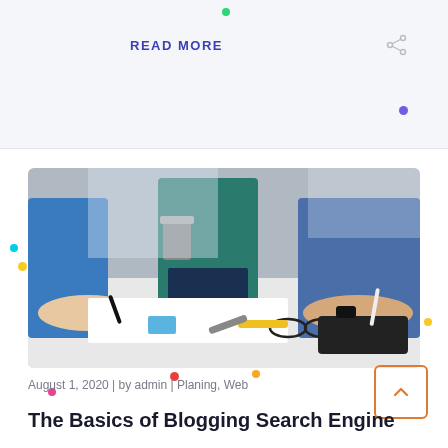READ MORE
[Figure (photo): People working at a white table, writing and collaborating, with glasses and a black notebook on the table]
August 1, 2020 | by admin | Planing, Web
The Basics of Blogging Search Engine